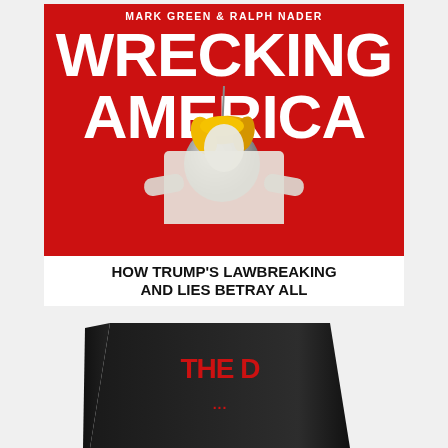[Figure (illustration): Book cover of 'Wrecking America' by Mark Green & Ralph Nader. Red background with large white bold text. A wrecking ball with Trump-like golden hair overlaid on a Lincoln Memorial statue. Subtitle: 'How Trump's Lawbreaking and Lies Betray All' in black text on white band at bottom.]
[Figure (photo): Partial view of another book with black cover, showing red text beginning with 'THE D...' — only the top portion of the book spine/cover is visible at bottom of page.]